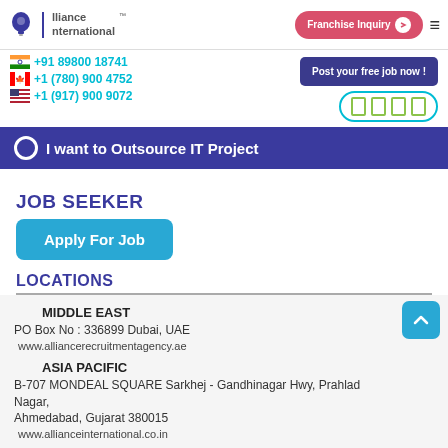Alliance International | Franchise Inquiry
+91 89800 18741 | +1 (780) 900 4752 | +1 (917) 900 9072
Post your free job now !
I want to Outsource IT Project
JOB SEEKER
Apply For Job
LOCATIONS
MIDDLE EAST
PO Box No : 336899 Dubai, UAE
www.alliancerecruitmentagency.ae
ASIA PACIFIC
B-707 MONDEAL SQUARE Sarkhej - Gandhinagar Hwy, Prahlad Nagar, Ahmedabad, Gujarat 380015
www.allianceinternational.co.in